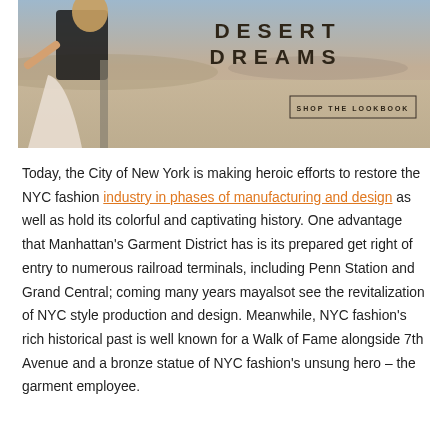[Figure (photo): Fashion editorial photo of a woman in desert setting with text overlay 'DESERT DREAMS' and 'SHOP THE LOOKBOOK' button]
Today, the City of New York is making heroic efforts to restore the NYC fashion industry in phases of manufacturing and design as well as hold its colorful and captivating history. One advantage that Manhattan's Garment District has is its prepared get right of entry to numerous railroad terminals, including Penn Station and Grand Central; coming many years mayalsot see the revitalization of NYC style production and design. Meanwhile, NYC fashion's rich historical past is well known for a Walk of Fame alongside 7th Avenue and a bronze statue of NYC fashion's unsung hero – the garment employee.